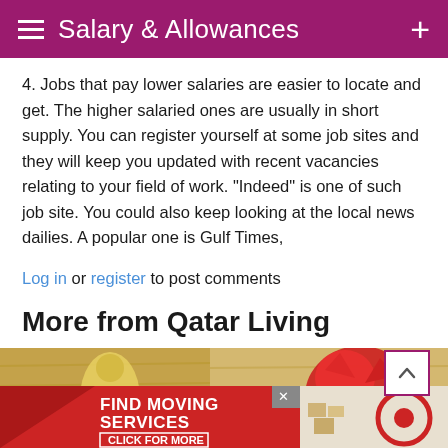Salary & Allowances
4. Jobs that pay lower salaries are easier to locate and get. The higher salaried ones are usually in short supply. You can register yourself at some job sites and they will keep you updated with recent vacancies relating to your field of work. "Indeed" is one of such job site. You could also keep looking at the local news dailies. A popular one is Gulf Times,
Log in or register to post comments
More from Qatar Living
[Figure (photo): Photo of decorative items on a wooden background with a red and yellow decorative object, and an advertisement banner for 'Find Moving Services - Click for More']